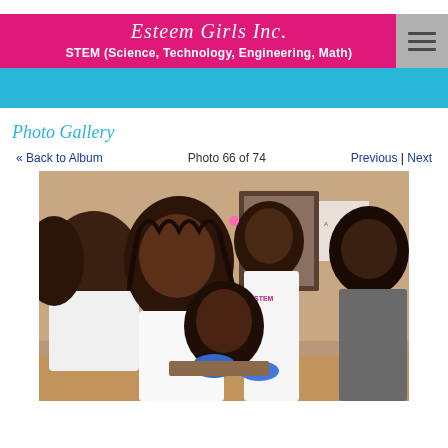Esteem Girls Inc.
STEM (Science, Technology, Engineering, Math)
Photo Gallery
« Back to Album   Photo 66 of 74   Previous | Next
[Figure (photo): Group of young Black girls engaged in a hands-on STEM activity, leaning over a table examining something. One girl in the center wears a white STEM-themed shirt with blue gloves. Others stand around watching.]